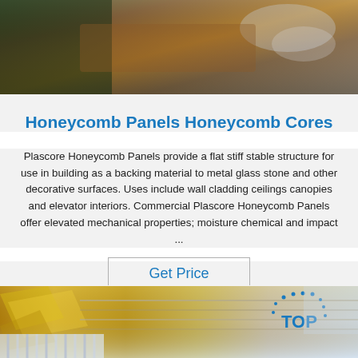[Figure (photo): Close-up photo of honeycomb panel material showing brown/tan packaging with plastic wrapping at the top of the page]
Honeycomb Panels Honeycomb Cores
Plascore Honeycomb Panels provide a flat stiff stable structure for use in building as a backing material to metal glass stone and other decorative surfaces. Uses include wall cladding ceilings canopies and elevator interiors. Commercial Plascore Honeycomb Panels offer elevated mechanical properties; moisture chemical and impact ...
Get Price
[Figure (photo): Photo of honeycomb panel materials in gold/yellow tones with a blue 'TOP' logo with circular dots in the upper right area]